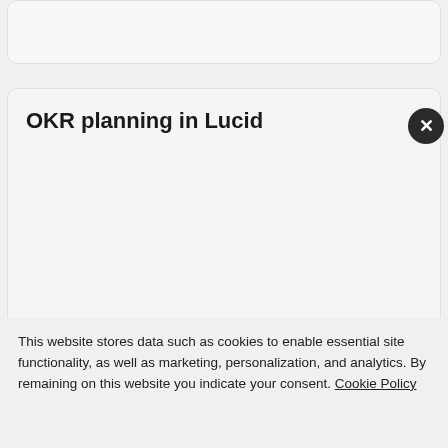[Figure (screenshot): Top card area - partially visible rounded card with light gray background]
OKR planning in Lucid
[Figure (screenshot): Main card content area - rounded card with light gray background, mostly empty]
This website stores data such as cookies to enable essential site functionality, as well as marketing, personalization, and analytics. By remaining on this website you indicate your consent. Cookie Policy